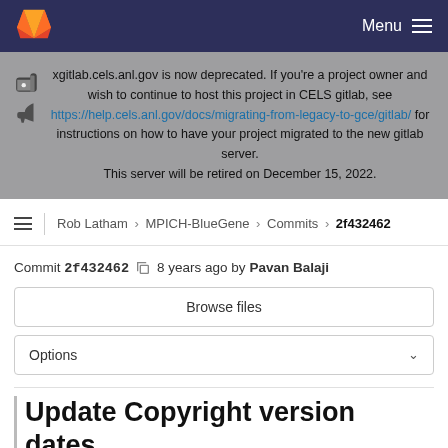Menu (navbar with GitLab logo)
xgitlab.cels.anl.gov is now deprecated. If you're a project owner and wish to continue to host this project in CELS gitlab, see https://help.cels.anl.gov/docs/migrating-from-legacy-to-gce/gitlab/ for instructions on how to have your project migrated to the new gitlab server. This server will be retired on December 15, 2022.
Rob Latham > MPICH-BlueGene > Commits > 2f432462
Commit 2f432462  8 years ago by Pavan Balaji
Browse files
Options
Update Copyright version dates.